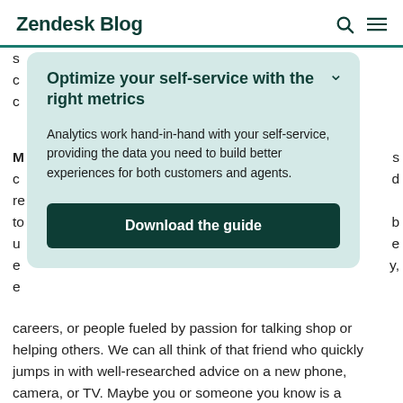Zendesk Blog
Optimize your self-service with the right metrics
Analytics work hand-in-hand with your self-service, providing the data you need to build better experiences for both customers and agents.
Download the guide
careers, or people fueled by passion for talking shop or helping others. We can all think of that friend who quickly jumps in with well-researched advice on a new phone, camera, or TV. Maybe you or someone you know is a